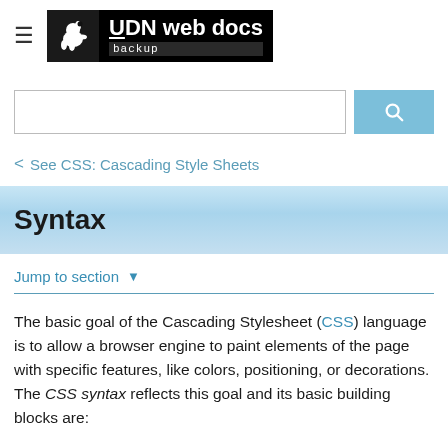UDN web docs backup
< See CSS: Cascading Style Sheets
Syntax
Jump to section ▼
The basic goal of the Cascading Stylesheet (CSS) language is to allow a browser engine to paint elements of the page with specific features, like colors, positioning, or decorations. The CSS syntax reflects this goal and its basic building blocks are: